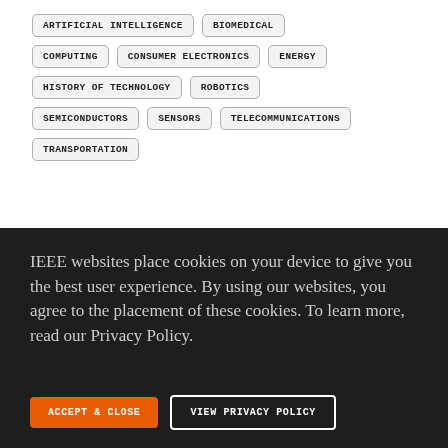ARTIFICIAL INTELLIGENCE
BIOMEDICAL
COMPUTING
CONSUMER ELECTRONICS
ENERGY
HISTORY OF TECHNOLOGY
ROBOTICS
SEMICONDUCTORS
SENSORS
TELECOMMUNICATIONS
TRANSPORTATION
IEEE websites place cookies on your device to give you the best user experience. By using our websites, you agree to the placement of these cookies. To learn more, read our Privacy Policy.
ACCEPT & CLOSE
VIEW PRIVACY POLICY